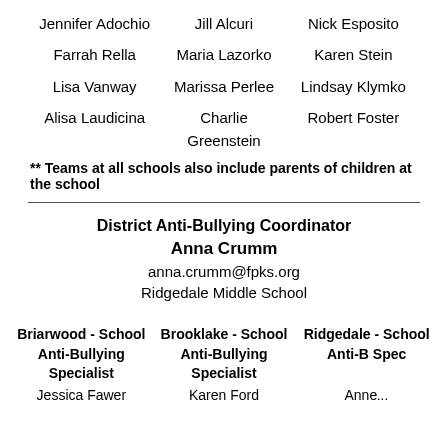Jennifer Adochio	Jill Alcuri	Nick Esposito
Farrah Rella	Maria Lazorko	Karen Stein
Lisa Vanway	Marissa Perlee	Lindsay Klymko
Alisa Laudicina	Charlie Greenstein	Robert Foster
** Teams at all schools also include parents of children at the school
District Anti-Bullying Coordinator
Anna Crumm
anna.crumm@fpks.org
Ridgedale Middle School
Briarwood - School Anti-Bullying Specialist	Brooklake - School Anti-Bullying Specialist	Ridgedale - School Anti-Bullying Specialist
Jessica Fawer	Karen Ford	Anne...